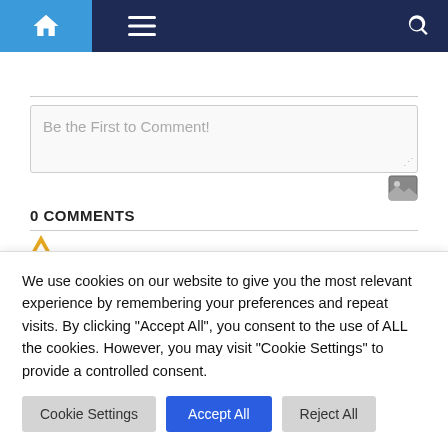[Figure (screenshot): Website navigation bar with home icon (blue background), hamburger menu icon, and search icon on dark navy background]
Be the First to Comment!
0 COMMENTS
We use cookies on our website to give you the most relevant experience by remembering your preferences and repeat visits. By clicking "Accept All", you consent to the use of ALL the cookies. However, you may visit "Cookie Settings" to provide a controlled consent.